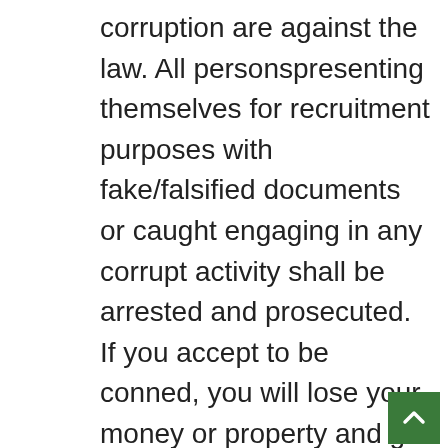corruption are against the law. All personspresenting themselves for recruitment purposes with fake/falsified documents or caught engaging in any corrupt activity shall be arrested and prosecuted. If you accept to be conned, you will lose your money or property and go to jail; it has happened to many citizens during past recruitments. Do not waste your money and risk imprisonment; NO ONE can influence the recruitment process. Report any suspicious activities to the nearestPolice Station or a Military Camp. KDF recruitment is absolutely FREE TO ALL